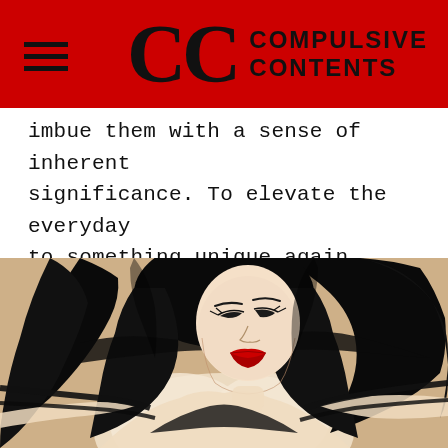CC COMPULSIVE CONTENTS
imbue them with a sense of inherent significance. To elevate the everyday to something unique again.
[Figure (illustration): Ink and wash illustration of a woman with long black hair, red lips, reclining on a beige/tan background. Bold black brushwork style.]